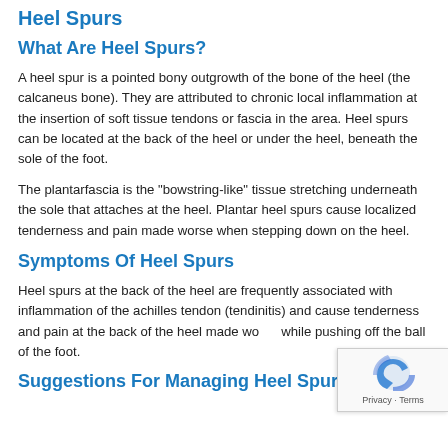Heel Spurs
What Are Heel Spurs?
A heel spur is a pointed bony outgrowth of the bone of the heel (the calcaneus bone). They are attributed to chronic local inflammation at the insertion of soft tissue tendons or fascia in the area. Heel spurs can be located at the back of the heel or under the heel, beneath the sole of the foot.
The plantarfascia is the "bowstring-like" tissue stretching underneath the sole that attaches at the heel. Plantar heel spurs cause localized tenderness and pain made worse when stepping down on the heel.
Symptoms Of Heel Spurs
Heel spurs at the back of the heel are frequently associated with inflammation of the achilles tendon (tendinitis) and cause tenderness and pain at the back of the heel made worse while pushing off the ball of the foot.
Suggestions For Managing Heel Spurs